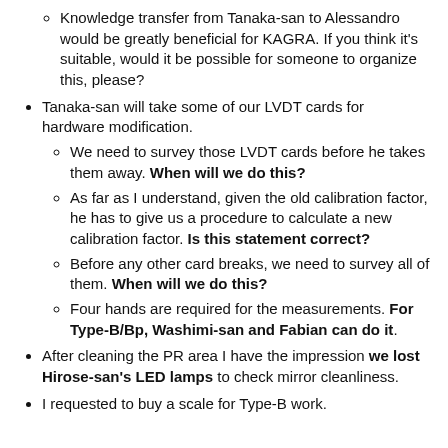Knowledge transfer from Tanaka-san to Alessandro would be greatly beneficial for KAGRA. If you think it's suitable, would it be possible for someone to organize this, please?
Tanaka-san will take some of our LVDT cards for hardware modification.
We need to survey those LVDT cards before he takes them away. When will we do this?
As far as I understand, given the old calibration factor, he has to give us a procedure to calculate a new calibration factor. Is this statement correct?
Before any other card breaks, we need to survey all of them. When will we do this?
Four hands are required for the measurements. For Type-B/Bp, Washimi-san and Fabian can do it.
After cleaning the PR area I have the impression we lost Hirose-san's LED lamps to check mirror cleanliness.
I requested to buy a scale for Type-B work.